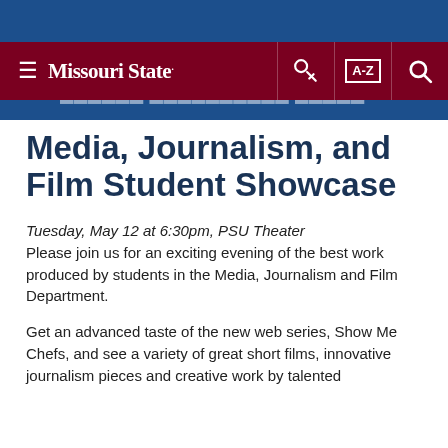Missouri State — Media, Journalism, and Film (navigation bar)
Media, Journalism, and Film Student Showcase
Tuesday, May 12 at 6:30pm, PSU Theater
Please join us for an exciting evening of the best work produced by students in the Media, Journalism and Film Department.
Get an advanced taste of the new web series, Show Me Chefs, and see a variety of great short films, innovative journalism pieces and creative work by talented